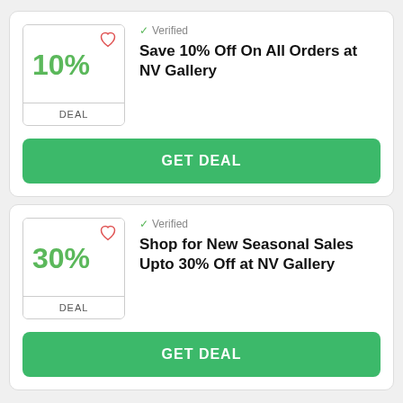Verified
Save 10% Off On All Orders at NV Gallery
DEAL
GET DEAL
Verified
Shop for New Seasonal Sales Upto 30% Off at NV Gallery
DEAL
GET DEAL